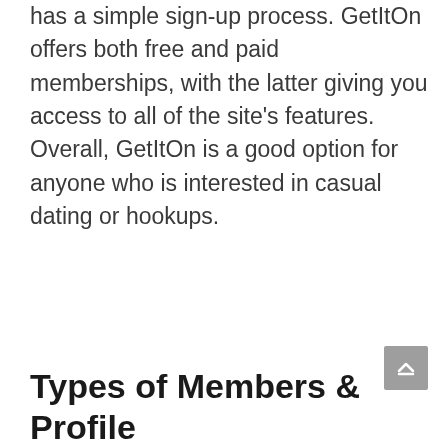has a simple sign-up process. GetItOn offers both free and paid memberships, with the latter giving you access to all of the site's features. Overall, GetItOn is a good option for anyone who is interested in casual dating or hookups.
[Figure (other): Scroll-to-top button: a grey rounded square button with an upward-pointing chevron/arrow icon]
Types of Members & Profile